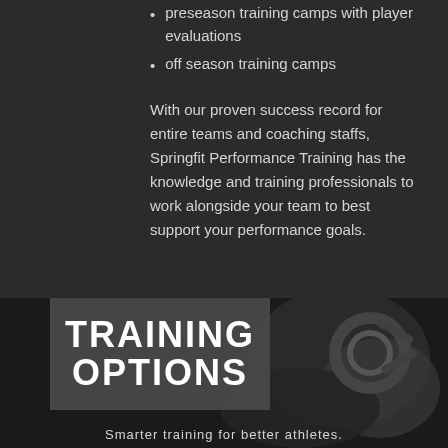preseason training camps with player evaluations
off season training camps
With our proven success record for entire teams and coaching staffs, Springfit Performance Training has the knowledge and training professionals to work alongside your team to best support your performance goals.
[Figure (photo): Black and white photo of athletic/gym equipment in background with a dark overlay]
TRAINING OPTIONS
Smarter training for better athletes.